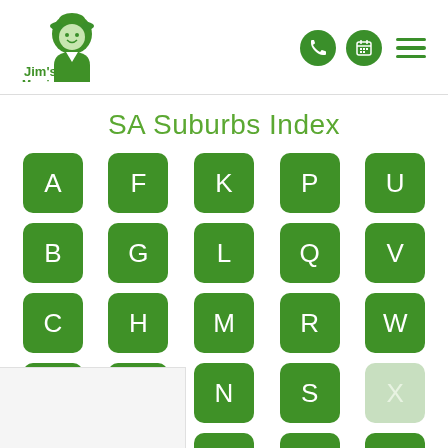[Figure (logo): Jim's Mowing logo — green illustration of a man with a hat and the text Jim's Mowing in green]
SA Suburbs Index
A, B, C, D, E (missing), F, G, H, I, J (missing), K, L, M, N, O, P, Q, R, S, T, U, V, W, X (disabled), Y
[Figure (other): Partial white/light grey box at bottom-left of page]